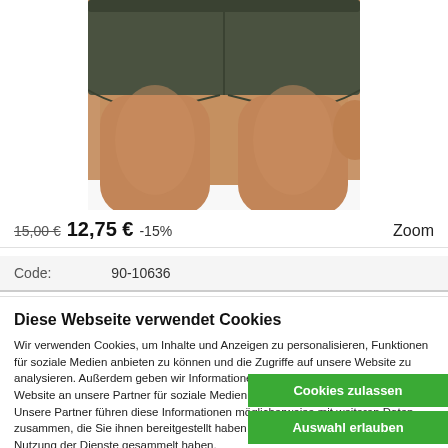[Figure (photo): Close-up photo of a person wearing dark olive/khaki boxer short underwear, cropped to show torso and upper thighs on white background]
15,00 € 12,75 € -15%   Zoom
Code:   90-10636
Diese Webseite verwendet Cookies
Wir verwenden Cookies, um Inhalte und Anzeigen zu personalisieren, Funktionen für soziale Medien anbieten zu können und die Zugriffe auf unsere Website zu analysieren. Außerdem geben wir Informationen zu Ihrer Verwendung unserer Website an unsere Partner für soziale Medien, Werbung und Analysen weiter. Unsere Partner führen diese Informationen möglicherweise mit weiteren Daten zusammen, die Sie ihnen bereitgestellt haben oder die sie im Rahmen Ihrer Nutzung der Dienste gesammelt haben.
Cookies zulassen
Auswahl erlauben